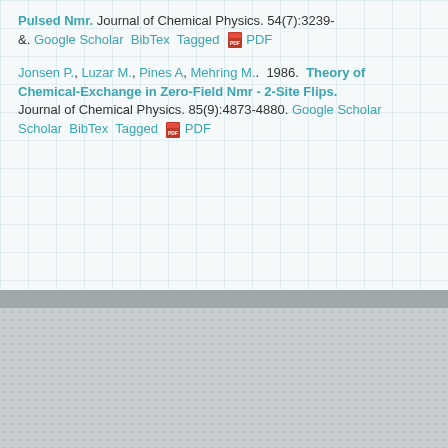Pulsed Nmr. Journal of Chemical Physics. 54(7):3239-&. Google Scholar BibTex Tagged PDF
Jonsen P., Luzar M., Pines A, Mehring M.. 1986. Theory of Chemical-Exchange in Zero-Field Nmr - 2-Site Flips. Journal of Chemical Physics. 85(9):4873-4880. Google Scholar BibTex Tagged PDF
[Figure (screenshot): Social media icons (Facebook, LinkedIn, Twitter), a search bar with magnifying glass button, and two journal cover images (ChemPhysChem 17/2015 and JMR Journal of Magnetic Resonance)]